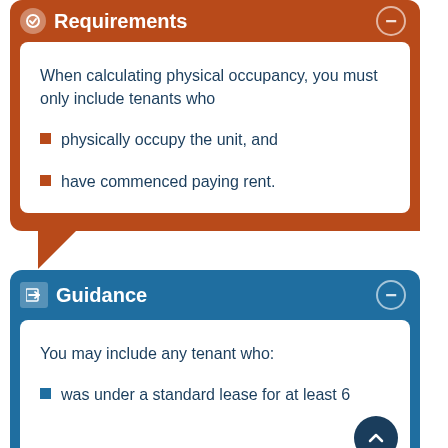Requirements
When calculating physical occupancy, you must only include tenants who
physically occupy the unit, and
have commenced paying rent.
Guidance
You may include any tenant who:
was under a standard lease for at least 6